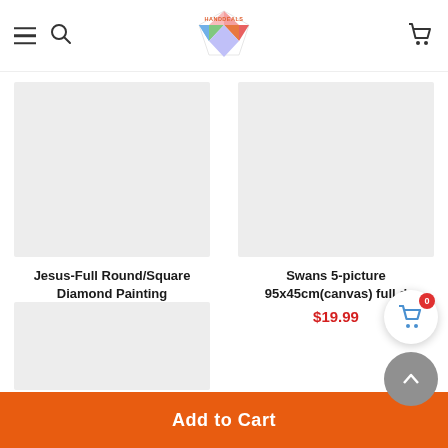HANDDEALS - navigation header with hamburger menu, search icon, logo, and cart icon
[Figure (photo): Product listing grid showing two product cards: (1) Jesus-Full Round/Square Diamond Painting at $7.99, (2) Swans 5-picture 95x45cm(canvas) full - at $19.99, and a third partial product card below]
Jesus-Full Round/Square Diamond Painting
$7.99
Swans 5-picture 95x45cm(canvas) full
$19.99
Add to Cart